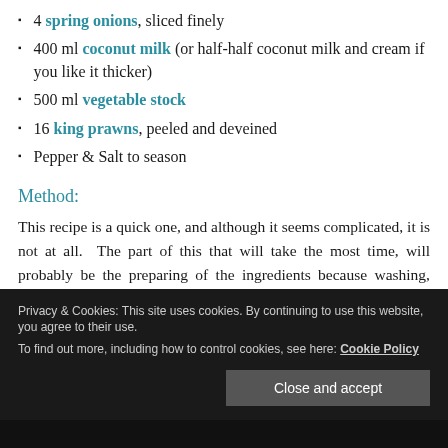4 spring onions, sliced finely
400 ml coconut milk (or half‑half coconut milk and cream if you like it thicker)
500 ml vegetable stock
16 king prawns, peeled and deveined
Pepper & Salt to season
Method:
This recipe is a quick one, and although it seems complicated, it is not at all. The part of this that will take the most time, will probably be the preparing of the ingredients because washing, cleaning and cooking these will set you back 30 min for sure.
After having prepared your ingredients, take a sauce pan and put
Privacy & Cookies: This site uses cookies. By continuing to use this website, you agree to their use.
To find out more, including how to control cookies, see here: Cookie Policy
Close and accept